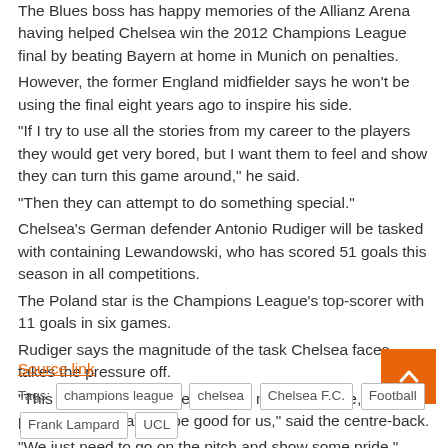The Blues boss has happy memories of the Allianz Arena having helped Chelsea win the 2012 Champions League final by beating Bayern at home in Munich on penalties. However, the former England midfielder says he won't be using the final eight years ago to inspire his side. "If I try to use all the stories from my career to the players they would get very bored, but I want them to feel and show they can turn this game around," he said. "Then they can attempt to do something special." Chelsea's German defender Antonio Rudiger will be tasked with containing Lewandowski, who has scored 51 goals this season in all competitions. The Poland star is the Champions League's top-scorer with 11 goals in six games. Rudiger says the magnitude of the task Chelsea faces takes the pressure off. "This is a situation where we have nothing to lose, no pressure and that can be good for us," said the centre-back. "We just need to go on the pitch and show some pride."
Source link
Tags: champions league  chelsea  Chelsea F.C.  Football  Frank Lampard  UCL